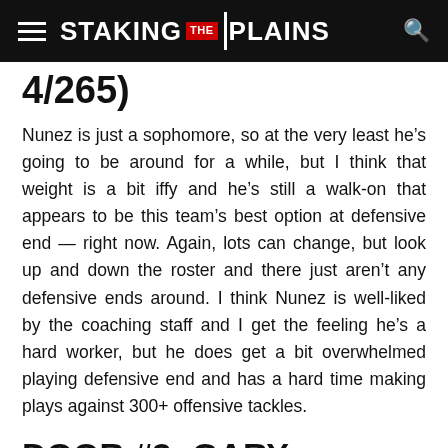STAKING THE PLAINS
4/265)
Nunez is just a sophomore, so at the very least he's going to be around for a while, but I think that weight is a bit iffy and he's still a walk-on that appears to be this team's best option at defensive end — right now. Again, lots can change, but look up and down the roster and there just aren't any defensive ends around. I think Nunez is well-liked by the coaching staff and I get the feeling he's a hard worker, but he does get a bit overwhelmed playing defensive end and has a hard time making plays against 300+ offensive tackles.
DOOR #3: GARY MOORE (6-5/224)